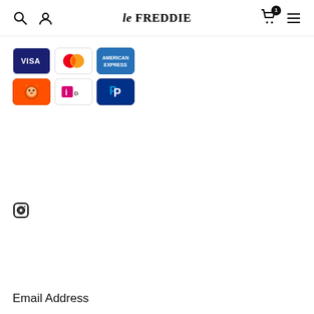le FREDDIE — navigation header with search, account, cart (1 item), menu icons
[Figure (other): Payment method icons: Visa, Mastercard, American Express (row 1); Brave/lion, iDEAL, PayPal (row 2)]
[Figure (other): Instagram icon]
Email Address